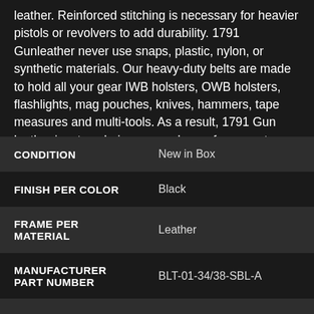leather. Reinforced stitching is necessary for heavier pistols or revolvers to add durability. 1791 Gunleather never use snaps, plastic, nylon, or synthetic materials. Our heavy-duty belts are made to hold all your gear IWB holsters, OWB holsters, flashlights, mag pouches, knives, hammers, tape measures and multi-tools. As a result, 1791 Gun leather is a top choice among law enforcement, veterans, first responders and patriots alike. SEE MORE
|  |  |
| --- | --- |
| CONDITION | New in Box |
| FINISH PER COLOR | Black |
| FRAME PER MATERIAL | Leather |
| MANUFACTURER PART NUMBER | BLT-01-34/38-SBL-A |